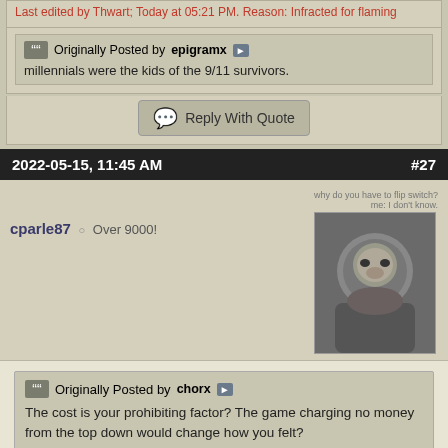Last edited by Thwart; Today at 05:21 PM. Reason: Infracted for flaming
Originally Posted by epigramx
millennials were the kids of the 9/11 survivors.
Reply With Quote
2022-05-15, 11:45 AM   #27
cparle87   Over 9000!
Originally Posted by chorx
The cost is your prohibiting factor? The game charging no money from the top down would change how you felt?
If they're quibbling over 50c a day for the most expensive subscription offer then it's clear they're just looking for something to complain about so they can justify complaining.
Especially considering they've never adjusted for inflation WoW is cheaper now than it was in 2004.
- - Updated - - -